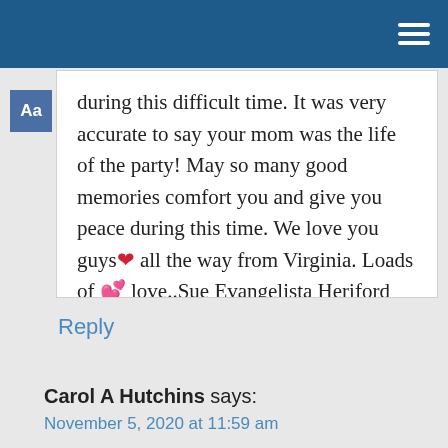during this difficult time. It was very accurate to say your mom was the life of the party! May so many good memories comfort you and give you peace during this time. We love you guys❤ all the way from Virginia. Loads of 💕 love..Sue Evangelista Heriford and family
Reply
Carol A Hutchins says:
November 5, 2020 at 11:59 am